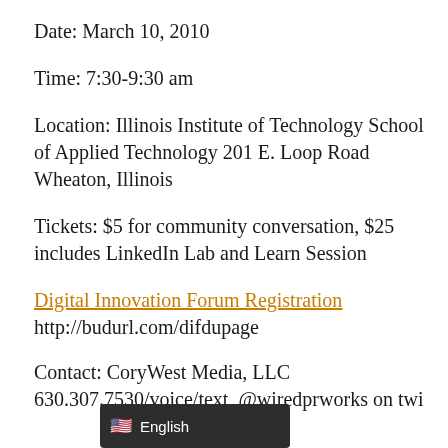Date: March 10, 2010
Time: 7:30-9:30 am
Location: Illinois Institute of Technology School of Applied Technology 201 E. Loop Road Wheaton, Illinois
Tickets: $5 for community conversation, $25 includes LinkedIn Lab and Learn Session
Digital Innovation Forum Registration
http://budurl.com/difdupage
Contact: CoryWest Media, LLC
630.307.7530/voice/text, @wiredprworks on twi...